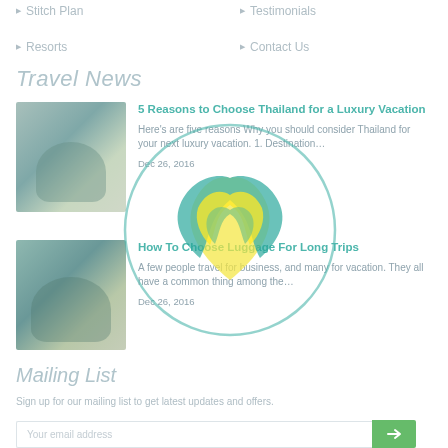Stitch Plan
Testimonials
Resorts
Contact Us
Travel News
[Figure (photo): Tropical/resort scene thumbnail for article 1]
5 Reasons to Choose Thailand for a Luxury Vacation
Here's are five reasons Why you should consider Thailand for your next luxury vacation. 1. Destination…
Dec 26, 2016
[Figure (logo): Circular logo overlay with a stylized bird/flame design in yellow and teal green]
[Figure (photo): Tropical/resort scene thumbnail for article 2]
How To Choose Luggage For Long Trips
A few people travel for business, and many for vacation. They all have a common thing among the…
Dec 26, 2016
Mailing List
Sign up for our mailing list to get latest updates and offers.
Your email address